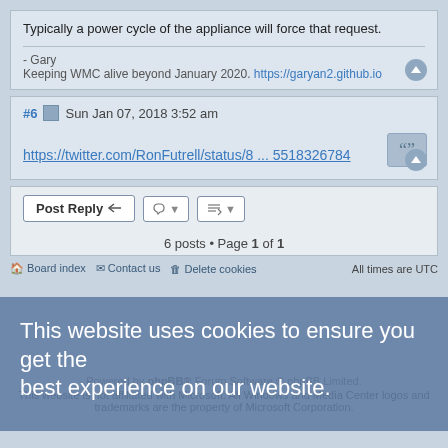Typically a power cycle of the appliance will force that request.
- Gary
Keeping WMC alive beyond January 2020. https://garyan2.github.io
#6  Sun Jan 07, 2018 3:52 am
https://twitter.com/RonFutrell/status/8 ... 5518326784
Post Reply
6 posts • Page 1 of 1
This website uses cookies to ensure you get the best experience on our website.
Board index  Contact us  Delete cookies  All times are UTC
Powered by phpBB® Forum Software © phpBB Limited.
This website is not affiliated with Microsoft. All Windows and Media Center logos and trademarks are the property of Microsoft Corporation.